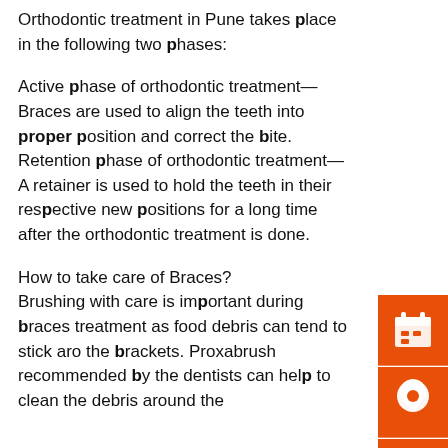Orthodontic treatment in Pune takes place in the following two phases:
Active phase of orthodontic treatment— Braces are used to align the teeth into proper position and correct the bite.
Retention phase of orthodontic treatment— A retainer is used to hold the teeth in their respective new positions for a long time after the orthodontic treatment is done.
How to take care of Braces?
Brushing with care is important during braces treatment as food debris can tend to stick around the brackets. Proxabrush recommended by the dentists can help to clean the debris around the
[Figure (infographic): Three orange square icons on right sidebar: calendar/appointment icon, location pin icon, and Indian Rupee currency icon]